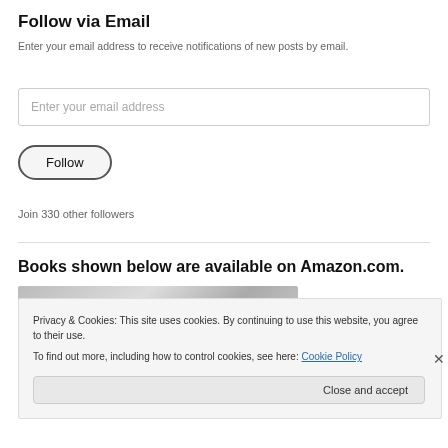Follow via Email
Enter your email address to receive notifications of new posts by email.
Enter your email address
Follow
Join 330 other followers
Books shown below are available on Amazon.com.
[Figure (photo): Books photograph placeholder image]
Privacy & Cookies: This site uses cookies. By continuing to use this website, you agree to their use.
To find out more, including how to control cookies, see here: Cookie Policy
Close and accept